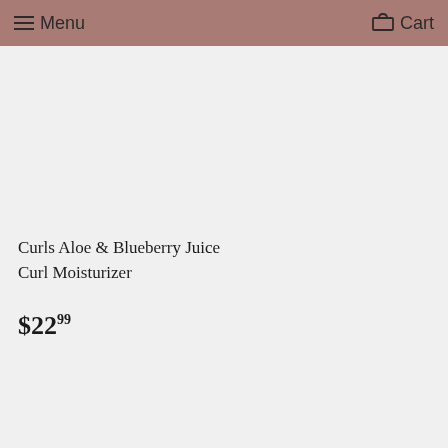Menu  Cart
Curls Aloe & Blueberry Juice Curl Moisturizer
$22.99